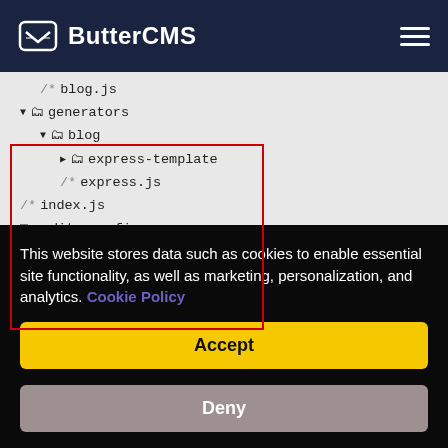[Figure (screenshot): ButterCMS website header with logo and hamburger menu on dark navy background]
[Figure (screenshot): File tree view showing folder structure with blog.js, generators/blog/express-template, express.js highlighted with a red border box, and files index.js, .editorconfig, .gitignore, package-lock.json, package.json below. Red annotation text reads 'Addition to the folder structure'.]
Addition to the folder structure
This website stores data such as cookies to enable essential site functionality, as well as marketing, personalization, and analytics. Cookie Policy
Accept
Deny